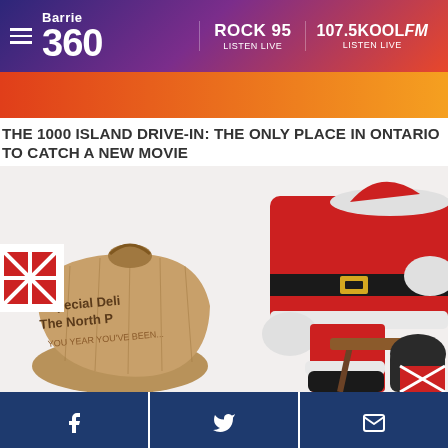Barrie 360 | ROCK 95 LISTEN LIVE | 107.5KOOLFM LISTEN LIVE
[Figure (other): Orange/red gradient advertisement banner]
THE 1000 ISLAND DRIVE-IN: THE ONLY PLACE IN ONTARIO TO CATCH A NEW MOVIE
[Figure (photo): Santa Claus sitting on a chair with a burlap sack labeled 'Special Delivery The North Pole' and red checkered gift boxes]
[Figure (other): Social share buttons: Facebook, Twitter, Email]